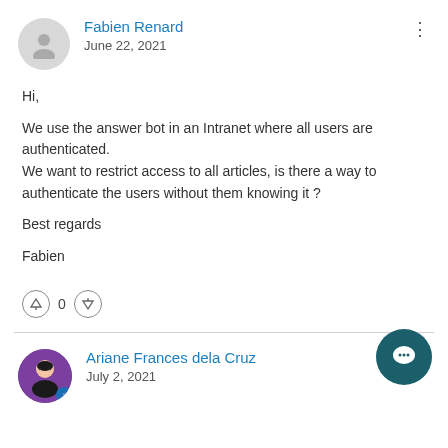Fabien Renard
June 22, 2021
Hi,

We use the answer bot in an Intranet where all users are authenticated.
We want to restrict access to all articles, is there a way to authenticate the users without them knowing it ?

Best regards

Fabien
Ariane Frances dela Cruz
July 2, 2021